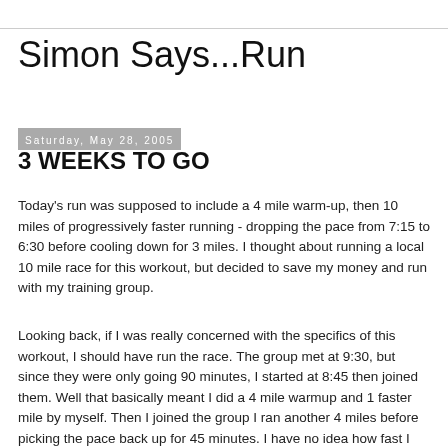Simon Says...Run
Saturday, May 28, 2005
3 WEEKS TO GO
Today's run was supposed to include a 4 mile warm-up, then 10 miles of progressively faster running - dropping the pace from 7:15 to 6:30 before cooling down for 3 miles. I thought about running a local 10 mile race for this workout, but decided to save my money and run with my training group.
Looking back, if I was really concerned with the specifics of this workout, I should have run the race. The group met at 9:30, but since they were only going 90 minutes, I started at 8:45 then joined them. Well that basically meant I did a 4 mile warmup and 1 faster mile by myself. Then I joined the group I ran another 4 miles before picking the pace back up for 45 minutes. I have no idea how fast I was going. It better have been sub 6:45 pace. I finished with a 10 minutes cool